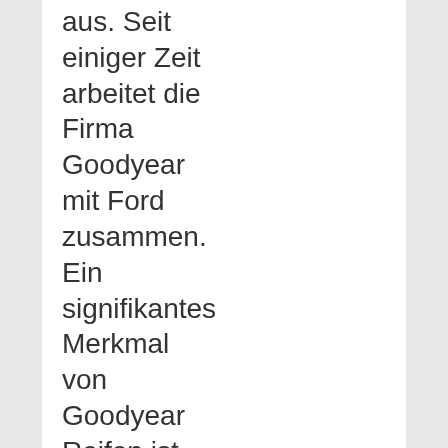aus. Seit einiger Zeit arbeitet die Firma Goodyear mit Ford zusammen. Ein signifikantes Merkmal von Goodyear Reifen ist, die enorme Anpassungsfähigkeit an die Straßenverhältnisse. Auch die hohe Geräuscharmut zählt zu den Besonderheiten